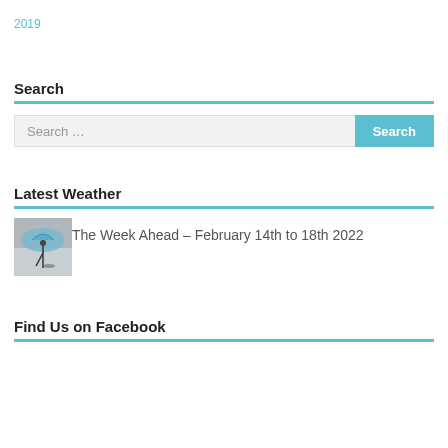2019
Search
Search ...
Latest Weather
[Figure (photo): Person walking in rain holding umbrella]
The Week Ahead – February 14th to 18th 2022
Find Us on Facebook